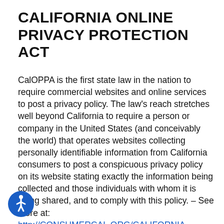CALIFORNIA ONLINE PRIVACY PROTECTION ACT
CalOPPA is the first state law in the nation to require commercial websites and online services to post a privacy policy. The law's reach stretches well beyond California to require a person or company in the United States (and conceivably the world) that operates websites collecting personally identifiable information from California consumers to post a conspicuous privacy policy on its website stating exactly the information being collected and those individuals with whom it is being shared, and to comply with this policy. – See more at: http://CONSUMERCAL.ORG/CALIFORNIA-ONLINE-PRIVACY-PROTECTION-ACT-CALOPPA/#STHASH.0EDRBT51.DPUF
[Figure (illustration): Accessibility icon — blue circle with white wheelchair user symbol]